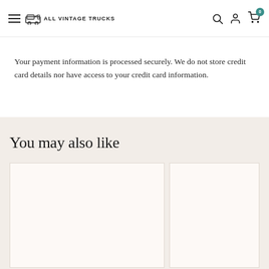ALL VINTAGE TRUCKS
Your payment information is processed securely. We do not store credit card details nor have access to your credit card information.
You may also like
[Figure (other): Two product card placeholders in the 'You may also like' section, showing empty product image areas with light beige background]